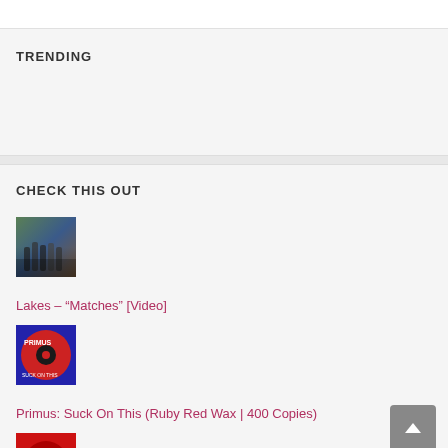TRENDING
CHECK THIS OUT
[Figure (photo): Thumbnail image of group of people outdoors for Lakes Matches video]
Lakes – “Matches” [Video]
[Figure (photo): Thumbnail of Primus Suck On This Ruby Red Wax vinyl record]
Primus: Suck On This (Ruby Red Wax | 400 Copies)
[Figure (photo): Thumbnail of red album cover partially visible at bottom]